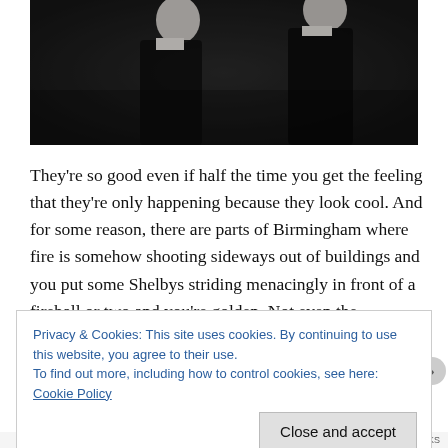[Figure (photo): A dark-toned photograph of two men in dark suits/coats with white collars, shot from profile/side angle in a dimly lit setting resembling a scene from Peaky Blinders.]
They're so good even if half the time you get the feeling that they're only happening because they look cool. And for some reason, there are parts of Birmingham where fire is somehow shooting sideways out of buildings and you put some Shelbys striding menacingly in front of a fireball or two and you're golden. Not even the introduction of automobiles can get in
Privacy & Cookies: This site uses cookies. By continuing to use this website, you agree to their use.
To find out more, including how to control cookies, see here: Cookie Policy
Close and accept